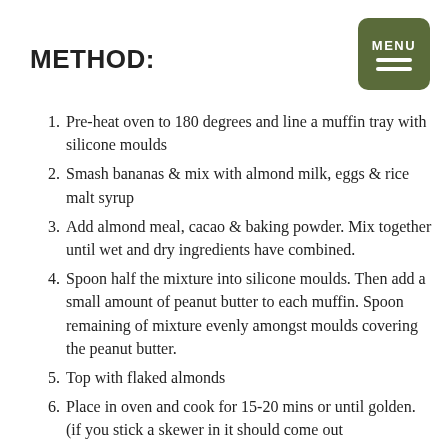METHOD:
Pre-heat oven to 180 degrees and line a muffin tray with silicone moulds
Smash bananas & mix with almond milk, eggs & rice malt syrup
Add almond meal, cacao & baking powder. Mix together until wet and dry ingredients have combined.
Spoon half the mixture into silicone moulds. Then add a small amount of peanut butter to each muffin. Spoon remaining of mixture evenly amongst moulds covering the peanut butter.
Top with flaked almonds
Place in oven and cook for 15-20 mins or until golden. (if you stick a skewer in it should come out